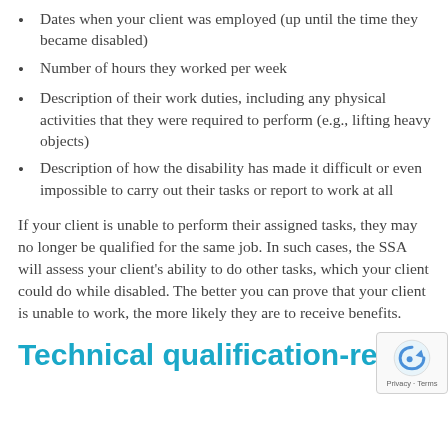Dates when your client was employed (up until the time they became disabled)
Number of hours they worked per week
Description of their work duties, including any physical activities that they were required to perform (e.g., lifting heavy objects)
Description of how the disability has made it difficult or even impossible to carry out their tasks or report to work at all
If your client is unable to perform their assigned tasks, they may no longer be qualified for the same job. In such cases, the SSA will assess your client’s ability to do other tasks, which your client could do while disabled. The better you can prove that your client is unable to work, the more likely they are to receive benefits.
Technical qualification-related